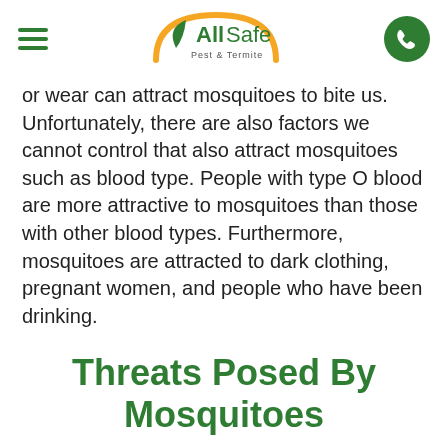AllSafe Pest & Termite
or wear can attract mosquitoes to bite us. Unfortunately, there are also factors we cannot control that also attract mosquitoes such as blood type. People with type O blood are more attractive to mosquitoes than those with other blood types. Furthermore, mosquitoes are attracted to dark clothing, pregnant women, and people who have been drinking.
Threats Posed By Mosquitoes
Mosquitoes are considered to be one of the most dangerous animals on the planet due to the